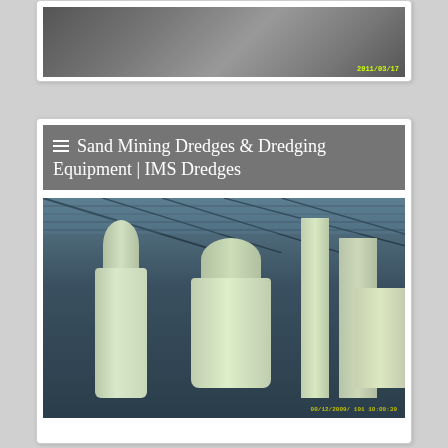[Figure (photo): Partial industrial/mechanical photo with timestamp 2011/03/17 visible at bottom right, shown at top of page as cropped card]
[Figure (photo): Industrial facility interior showing large cylindrical tanks/separators and piping under a metal roof structure, with timestamp visible at bottom]
Sand Mining Dredges & Dredging Equipment | IMS Dredges